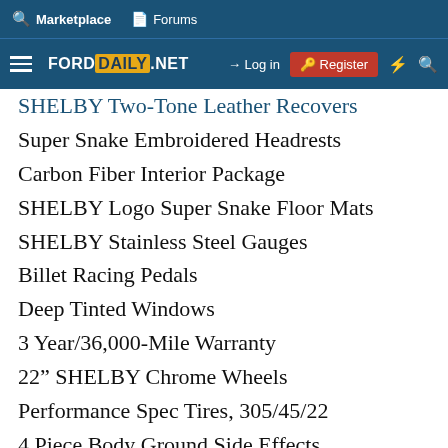Marketplace | Forums | FORDDAILY.NET | Log in | Register
SHELBY Two-Tone Leather Recovers
Super Snake Embroidered Headrests
Carbon Fiber Interior Package
SHELBY Logo Super Snake Floor Mats
SHELBY Stainless Steel Gauges
Billet Racing Pedals
Deep Tinted Windows
3 Year/36,000-Mile Warranty
22” SHELBY Chrome Wheels
Performance Spec Tires, 305/45/22
4 Piece Body Ground Side Effects
Fender Flairs